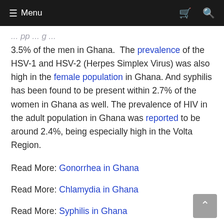≡ Menu
3.5% of the men in Ghana.  The prevalence of the HSV-1 and HSV-2 (Herpes Simplex Virus) was also high in the female population in Ghana. And syphilis has been found to be present within 2.7% of the women in Ghana as well. The prevalence of HIV in the adult population in Ghana was reported to be around 2.4%, being especially high in the Volta Region.
Read More: Gonorrhea in Ghana
Read More: Chlamydia in Ghana
Read More: Syphilis in Ghana